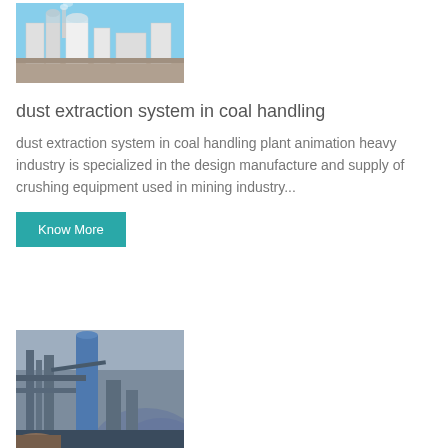[Figure (photo): Industrial facility exterior with large white cylindrical silos/tanks and blue sky in background, appears to be a coal handling or dust extraction plant]
dust extraction system in coal handling
dust extraction system in coal handling plant animation heavy industry is specialized in the design manufacture and supply of crushing equipment used in mining industry...
Know More
[Figure (photo): Industrial plant with large blue cylindrical structures, pipes, and conveyor systems, appears to be a coal handling facility photographed at dusk or in low light]